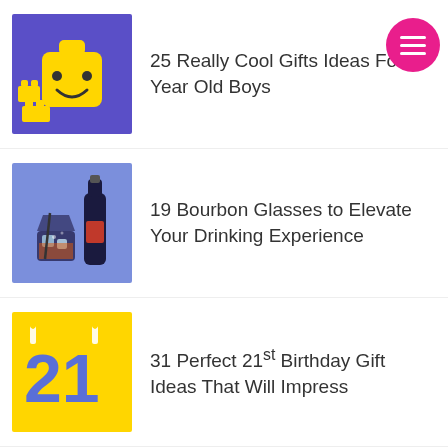[Figure (illustration): Purple/blue background with LEGO head and LEGO bricks illustration]
25 Really Cool Gifts Ideas For Year Old Boys
[Figure (illustration): Blue/periwinkle background with bourbon glass and bottle illustration]
19 Bourbon Glasses to Elevate Your Drinking Experience
[Figure (illustration): Yellow background with '21' in blue birthday candles illustration]
31 Perfect 21st Birthday Gift Ideas That Will Impress
[Figure (illustration): Pink background with Christmas/holiday illustration (partially visible)]
34 Popular Christmas Gifts for